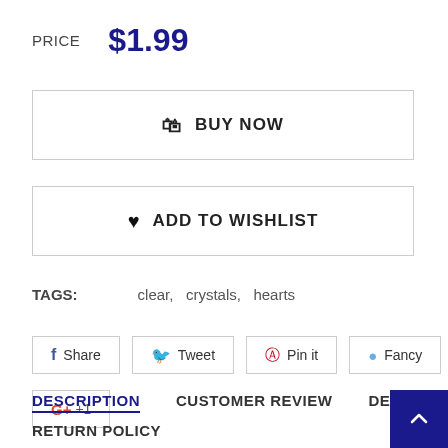PRICE   $1.99
🛍 BUY NOW
♥ ADD TO WISHLIST
TAGS:   clear,   crystals,   hearts
f Share   Tweet   Pin it   Fancy   G+ +1
DESCRIPTION   CUSTOMER REVIEW   DELIVERY
RETURN POLICY